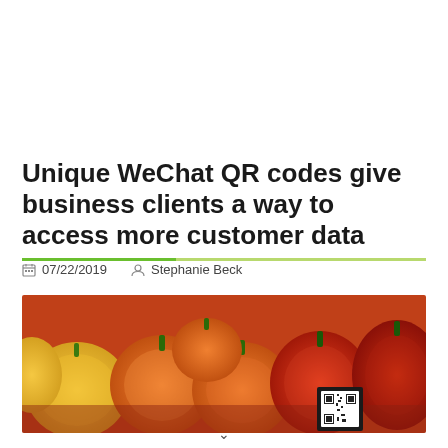Unique WeChat QR codes give business clients a way to access more customer data
07/22/2019   Stephanie Beck
[Figure (photo): Photo of a colorful display of orange, red, and yellow bell peppers at a market, with a small QR code visible in the lower right area of the image.]